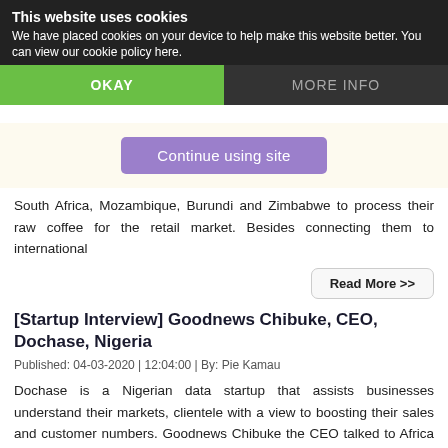We have placed cookies on your device to help make this website better. You can view our cookie policy here.
This website uses cookies
OKAY
MORE INFO
Continue using site
South Africa, Mozambique, Burundi and Zimbabwe to process their raw coffee for the retail market. Besides connecting them to international
Read More >>
[Startup Interview] Goodnews Chibuke, CEO, Dochase, Nigeria
Published: 04-03-2020 | 12:04:00 | By: Pie Kamau
Dochase is a Nigerian data startup that assists businesses understand their markets, clientele with a view to boosting their sales and customer numbers. Goodnews Chibuke the CEO talked to Africa Business Communities about the startup's business model.
Read More >>